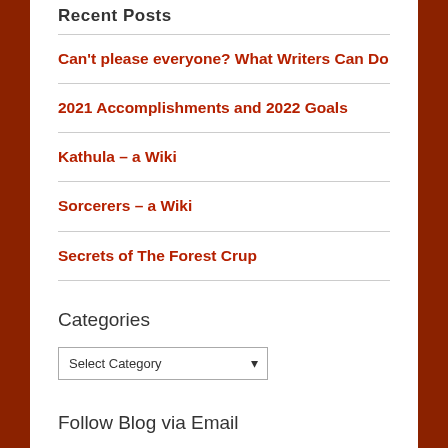Recent Posts
Can't please everyone? What Writers Can Do
2021 Accomplishments and 2022 Goals
Kathula – a Wiki
Sorcerers – a Wiki
Secrets of The Forest Crup
Categories
Select Category
Follow Blog via Email